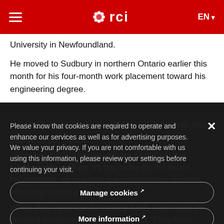≡  ◉ rci  EN ▾
University in Newfoundland.
He moved to Sudbury in northern Ontario earlier this month for his four-month work placement toward his engineering degree.
He saw the add for the rental on Kijiji, but it was also... pay $325 per month.
Victor has tried to get his money back from the landlord with no luck. It's the same for his seven housemates, all of whom are international students attending school in Sudbury.
Please know that cookies are required to operate and enhance our services as well as for advertising purposes. We value your privacy. If you are not comfortable with us using this information, please review your settings before continuing your visit.
Manage cookies ↗
More information ↗
When they try to ask for money back, Victor said the landlord threatened and bullied them. They have screen shots of texts and recordings of phone calls